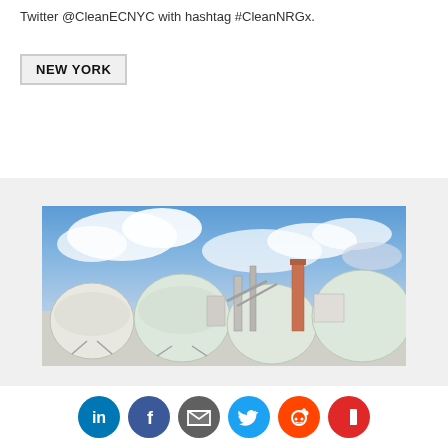Twitter @CleanECNYC with hashtag #CleanNRGx.
NEW YORK
[Figure (photo): Industrial facility with large white spherical storage tanks and industrial structures against a partly cloudy blue sky]
[Figure (infographic): Social media sharing icons: LinkedIn (blue), Facebook (blue), Email (gray), Twitter (blue), Reddit (orange), Flipboard (red)]